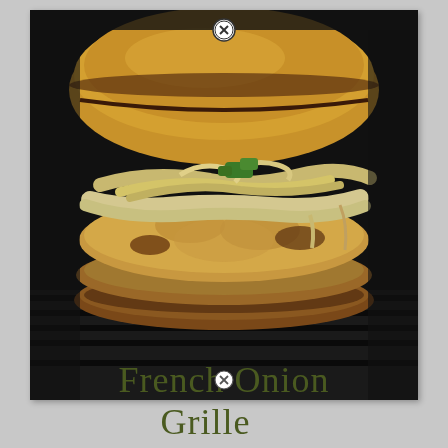[Figure (photo): Close-up photo of a French onion grilled burger/chicken patty on a toasted bun, topped with caramelized onions and melted cheese, sitting on a dark grill pan. The bun is golden-brown with char marks.]
French Onion Grilled